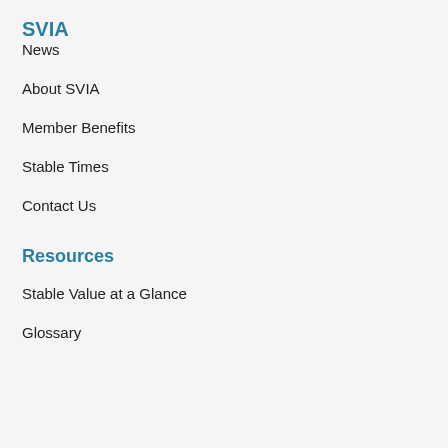SVIA
News
About SVIA
Member Benefits
Stable Times
Contact Us
Resources
Stable Value at a Glance
Glossary